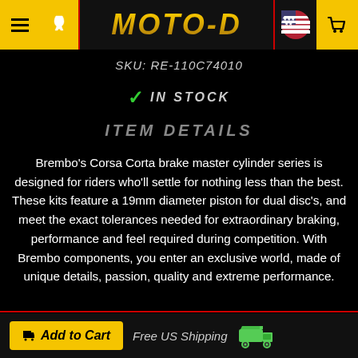MOTO-D
SKU: RE-110C74010
✓ IN STOCK
ITEM DETAILS
Brembo's Corsa Corta brake master cylinder series is designed for riders who'll settle for nothing less than the best. These kits feature a 19mm diameter piston for dual disc's, and meet the exact tolerances needed for extraordinary braking, performance and feel required during competition. With Brembo components, you enter an exclusive world, made of unique details, passion, quality and extreme performance.
This brake master includes a fixed, standard length
Add to Cart   Free US Shipping